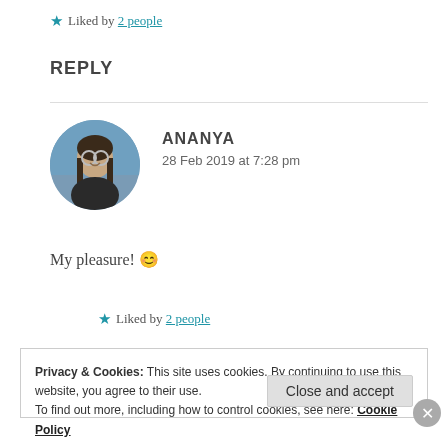★ Liked by 2 people
REPLY
ANANYA
28 Feb 2019 at 7:28 pm
My pleasure! 😊
★ Liked by 2 people
Privacy & Cookies: This site uses cookies. By continuing to use this website, you agree to their use.
To find out more, including how to control cookies, see here: Cookie Policy
Close and accept